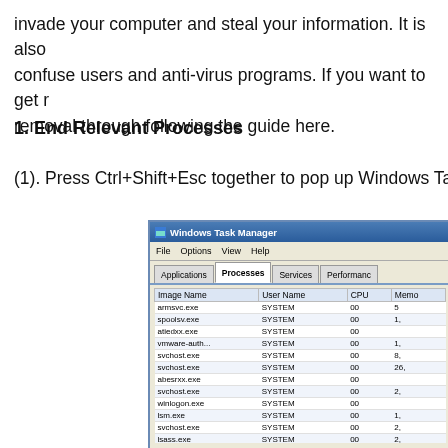invade your computer and steal your information. It is also confuse users and anti-virus programs. If you want to get removal through following the guide here.
1. End Relevant Processes
(1). Press Ctrl+Shift+Esc together to pop up Windows Task
[Figure (screenshot): Windows Task Manager screenshot showing the Processes tab with a list of running processes including armsvc.exe, spoolsv.exe, atiedxx.exe, vmware-auth..., svchost.exe, svchost.exe, abesrxx.exe, svchost.exe, winlogon.exe, lsm.exe, svchost.exe, lsass.exe, services.exe, csrss.exe, wininit.exe, csrss.exe — all running as SYSTEM with CPU 00 and various memory values.]